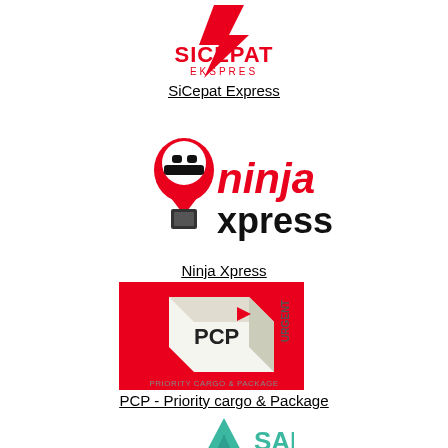[Figure (logo): SiCepat Ekspres logo - red lightning bolt with SICEPAT EKSPRES text]
SiCepat Express
[Figure (logo): Ninja Xpress logo - ninja character with location pin and Ninja xpress text in red and black]
Ninja Xpress
[Figure (logo): PCP - Priority cargo & Package logo - red square background with illustrated cardboard box labeled PCP URGENT]
PCP - Priority cargo & Package
[Figure (logo): SAP logo - teal/green triangle arrow pointing up with SAP text]